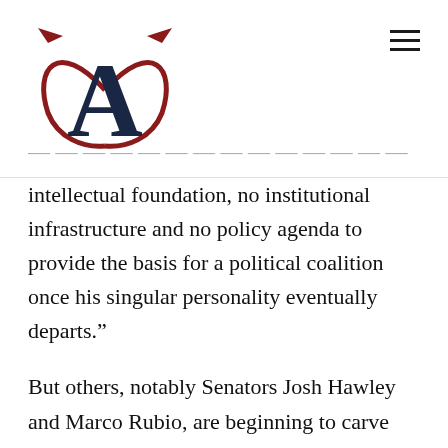The American Conservative logo and navigation
intellectual foundation, no institutional infrastructure and no policy agenda to provide the basis for a political coalition once his singular personality eventually departs.”
But others, notably Senators Josh Hawley and Marco Rubio, are beginning to carve out an intellectual framework that incorporates many national developmentalist insights, not only of List, but also of existing East A...